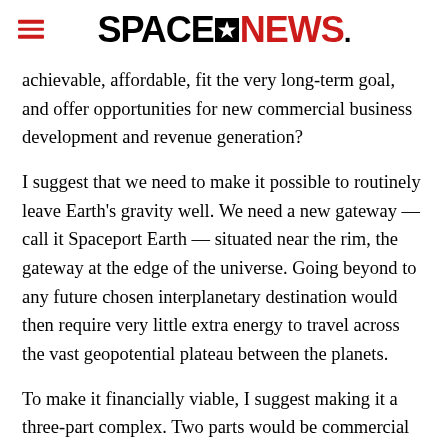SPACENEWS
achievable, affordable, fit the very long-term goal, and offer opportunities for new commercial business development and revenue generation?
I suggest that we need to make it possible to routinely leave Earth's gravity well. We need a new gateway — call it Spaceport Earth — situated near the rim, the gateway at the edge of the universe. Going beyond to any future chosen interplanetary destination would then require very little extra energy to travel across the vast geopotential plateau between the planets.
To make it financially viable, I suggest making it a three-part complex. Two parts would be commercial and one part would be governmental. First let's consider the role of the government.